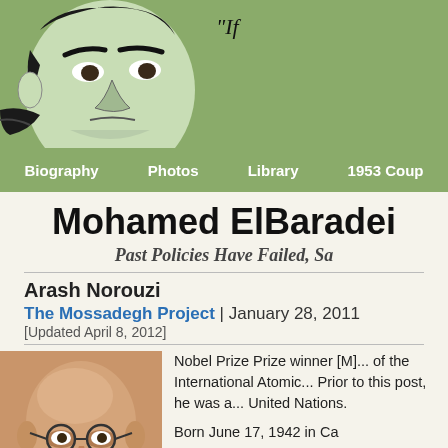[Figure (illustration): Green-tinted illustration of a face (Mossadegh caricature) in the header area with quote text beginning with 'If']
Biography  Photos  Library  1953 Coup
Mohamed ElBaradei
Past Policies Have Failed, Sa
Arash Norouzi
The Mossadegh Project | January 28, 2011
[Updated April 8, 2012]
[Figure (photo): Portrait photo of Mohamed ElBaradei, a bald elderly man wearing glasses, against an orange/tan background]
Nobel Prize Prize winner [M]... of the International Atomic... Prior to this post, he was a... United Nations.

Born June 17, 1942 in Ca